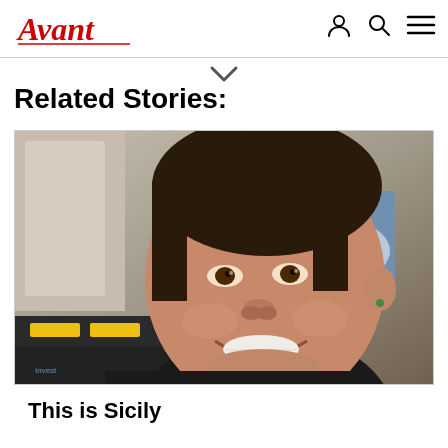Avant
Related Stories:
[Figure (photo): Smiling middle-aged woman with short dark hair, photographed in front of a blurred background showing a white car image and dark storage boxes with yellow labels.]
This is Sicily